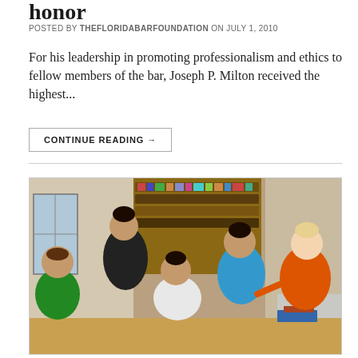honor
POSTED BY THEFLORIDABARFOUNDATION ON JULY 1, 2010
For his leadership in promoting professionalism and ethics to fellow members of the bar, Joseph P. Milton received the highest...
CONTINUE READING →
[Figure (photo): A classroom scene showing a group of young women and a blonde female teacher in an orange top sitting together at a table, with bookshelves visible in the background. The teacher appears to be gesturing and engaging in discussion with the students.]